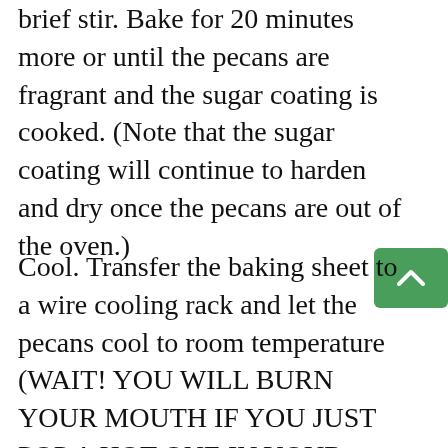brief stir. Bake for 20 minutes more or until the pecans are fragrant and the sugar coating is cooked. (Note that the sugar coating will continue to harden and dry once the pecans are out of the oven.)
Cool. Transfer the baking sheet to a wire cooling rack and let the pecans cool to room temperature (WAIT! YOU WILL BURN YOUR MOUTH IF YOU JUST POP A HOT ONE IN YOUR MOUTH). Serve and enjoy, or transfer to a sealed container to store at room temperature for up to 2 weeks.
[Figure (other): Green scroll-to-top button with upward chevron arrow icon]